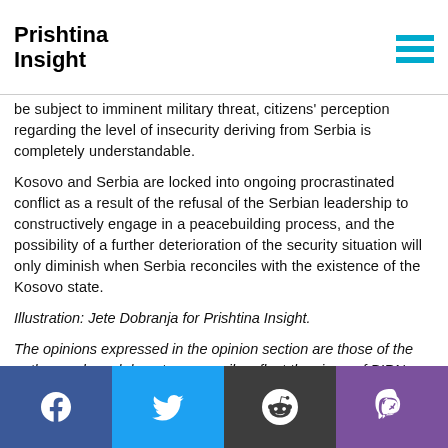Prishtina Insight
be subject to imminent military threat, citizens' perception regarding the level of insecurity deriving from Serbia is completely understandable.
Kosovo and Serbia are locked into ongoing procrastinated conflict as a result of the refusal of the Serbian leadership to constructively engage in a peacebuilding process, and the possibility of a further deterioration of the security situation will only diminish when Serbia reconciles with the existence of the Kosovo state.
Illustration: Jete Dobranja for Prishtina Insight.
The opinions expressed in the opinion section are those of the authors only and do not necessarily reflect the views of BIRN.
Facebook Twitter Reddit Viber